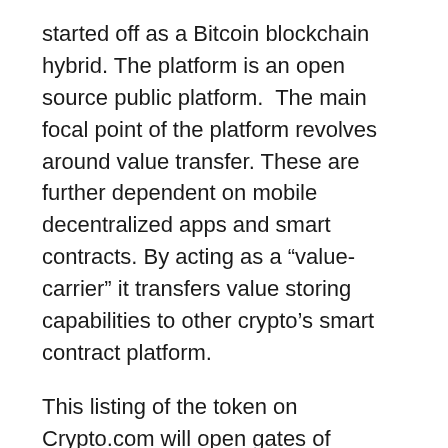started off as a Bitcoin blockchain hybrid. The platform is an open source public platform.  The main focal point of the platform revolves around value transfer. These are further dependent on mobile decentralized apps and smart contracts. By acting as a “value-carrier” it transfers value storing capabilities to other crypto’s smart contract platform.
This listing of the token on Crypto.com will open gates of possibilities for the users. The users will now be able to purchase the token at correct rates. There will be no fees at the platform. Moreover, both the credit card and the bank transfer facility are available to the user. In the official tweet, the company mentioned that the platform will make MCO Visa Card available to the